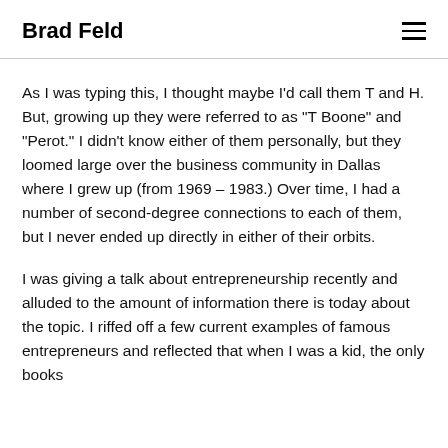Brad Feld
As I was typing this, I thought maybe I’d call them T and H. But, growing up they were referred to as “T Boone” and “Perot.” I didn’t know either of them personally, but they loomed large over the business community in Dallas where I grew up (from 1969 – 1983.) Over time, I had a number of second-degree connections to each of them, but I never ended up directly in either of their orbits.
I was giving a talk about entrepreneurship recently and alluded to the amount of information there is today about the topic. I riffed off a few current examples of famous entrepreneurs and reflected that when I was a kid, the only books